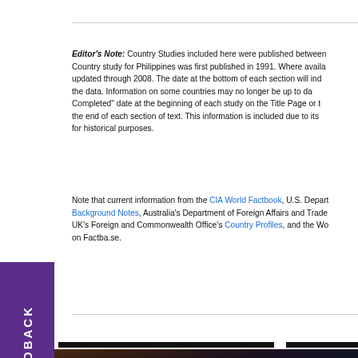Editor's Note: Country Studies included here were published between... Country study for Philippines was first published in 1991. Where available, data has been updated through 2008. The date at the bottom of each section will indicate the currency of the data. Information on some countries may no longer be up to date. Check the "Research Completed" date at the beginning of each study on the Title Page or the date appearing at the end of each section of text. This information is included due to its continuing interest for historical purposes.
Note that current information from the CIA World Factbook, U.S. Department of State's Background Notes, Australia's Department of Foreign Affairs and Trade, Great Britain's UK's Foreign and Commonwealth Office's Country Profiles, and the World Bank can be found on Factba.se.
© Copyright 2022 CantyMedia · Webmaster · Privacy Policy · Other Sites: Weatherbase · Geoba.se · Factba.se